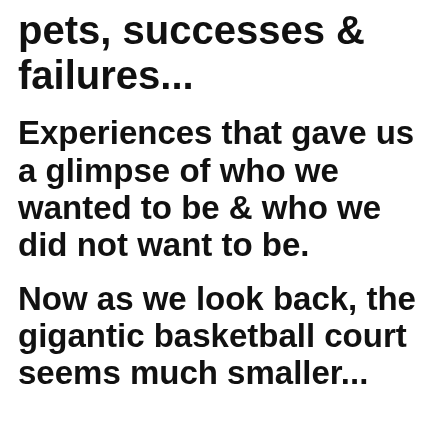pets, successes & failures...
Experiences that gave us a glimpse of who we wanted to be & who we did not want to be.
Now as we look back, the gigantic basketball court seems much smaller...